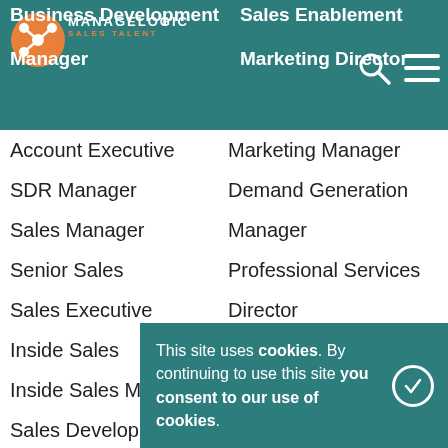Business Development | Sales Enablement | Manager | Marketing Director
Account Executive
Marketing Manager
SDR Manager
Demand Generation
Sales Manager
Manager
Senior Sales
Professional Services
Sales Executive
Director
Inside Sales
Sales Engineer
Inside Sales Manager
Solutions Consultant
Sales Development
Pre-Sales Engineer
Representative
Solutions Architect
Business
Developers
Representative
Director of Business
Account Development
This site uses cookies. By continuing to use this site you consent to our use of cookies.